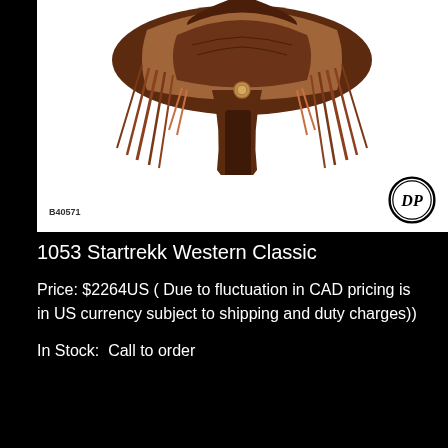[Figure (photo): Close-up photo of a brown leather western saddle with stirrup, fringe straps, and DP brand logo. Item code B40571 visible in lower left of image.]
1053 Startrekk Western Classic
Price: $2264US ( Due to fluctuation in CAD pricing is in US currency subject to shipping and duty charges))
In Stock:  Call to order